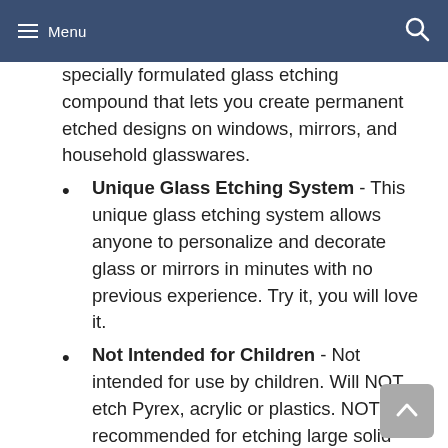Menu
specially formulated glass etching compound that lets you create permanent etched designs on windows, mirrors, and household glasswares.
Unique Glass Etching System - This unique glass etching system allows anyone to personalize and decorate glass or mirrors in minutes with no previous experience. Try it, you will love it.
Not Intended for Children - Not intended for use by children. Will NOT etch Pyrex, acrylic or plastics. NOT recommended for etching large solid areas of glass.
Easy to Use and Permanent - Use it with a pre-cut, glass-etching stencil or with a stencil you create yourself.
Mashify Application Brush Set Included - This